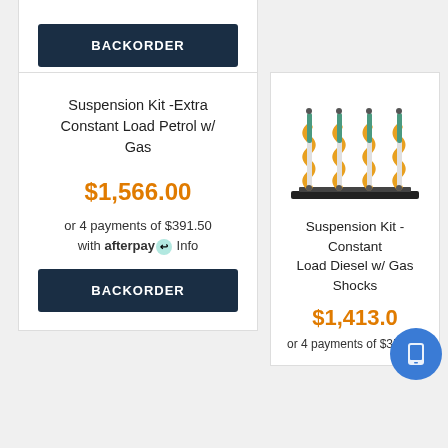[Figure (other): BACKORDER button in dark navy blue, top partial card]
Suspension Kit -Extra Constant Load Petrol w/ Gas
$1,566.00
or 4 payments of $391.50 with afterpay Info
[Figure (other): BACKORDER button in dark navy blue]
[Figure (illustration): Illustration of suspension kit with coil springs and shock absorbers on a black base]
Suspension Kit -Constant Load Diesel w/ Gas Shocks
$1,413.0
or 4 payments of $353.25